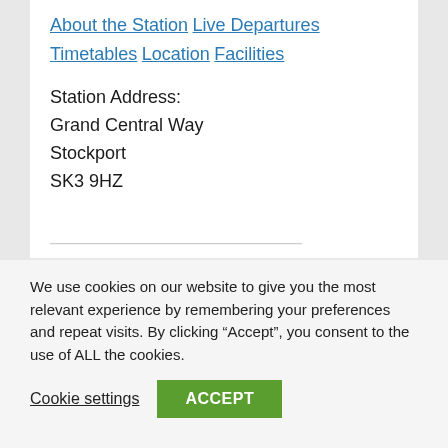About the Station
Live Departures
Timetables
Location
Facilities
Station Address:
Grand Central Way
Stockport
SK3 9HZ
We use cookies on our website to give you the most relevant experience by remembering your preferences and repeat visits. By clicking “Accept”, you consent to the use of ALL the cookies.
Cookie settings
ACCEPT